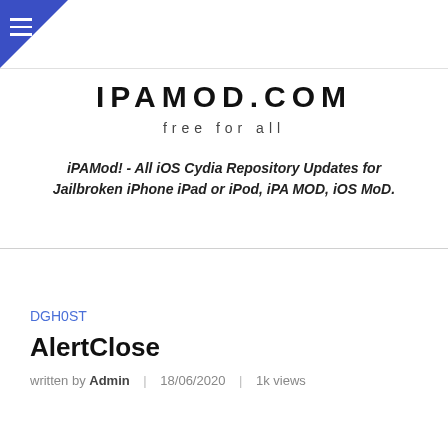IPAMOD.COM — free for all
iPAMod! - All iOS Cydia Repository Updates for Jailbroken iPhone iPad or iPod, iPA MOD, iOS MoD.
DGH0ST
AlertClose
written by Admin | 18/06/2020 | 1k views